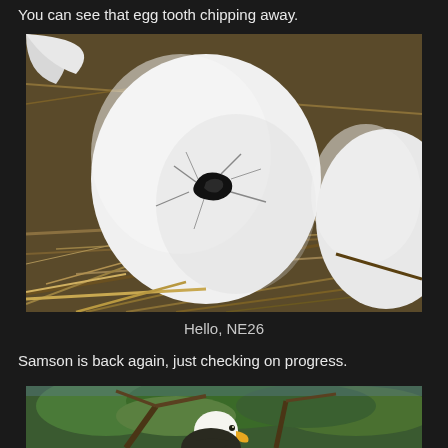You can see that egg tooth chipping away.
[Figure (photo): Close-up photo of a white eagle egg in a nest made of straw/hay. The egg has a visible pip hole with the egg tooth of the eaglet visible through it, creating a dark opening. A second egg is partially visible on the right side.]
Hello, NE26
Samson is back again, just checking on progress.
[Figure (photo): Partial photo of a bald eagle perched in tree branches, visible from the neck up with its distinctive white head, against a background of green foliage.]